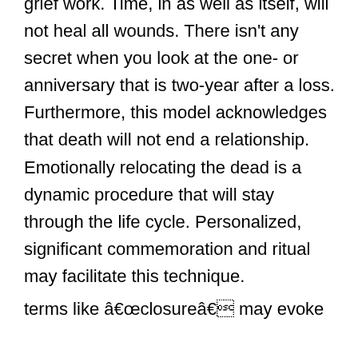grief work. Time, in as well as itself, will not heal all wounds. There isn't any secret when you look at the one- or anniversary that is two-year after a loss. Furthermore, this model acknowledges that death will not end a relationship. Emotionally relocating the dead is a dynamic procedure that will stay through the life cycle. Personalized, significant commemoration and ritual may facilitate this technique.
terms like â€œclosureâ€ may evoke